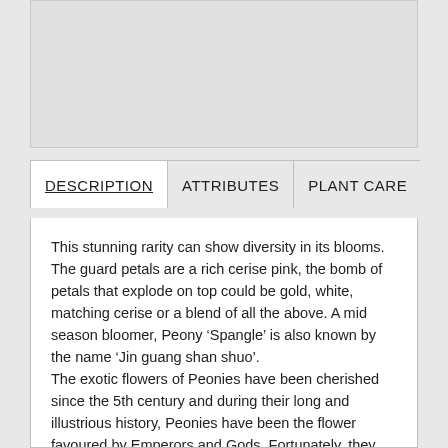[Figure (photo): Product image placeholder area (light gray rectangle)]
DESCRIPTION | ATTRIBUTES | PLANT CARE
This stunning rarity can show diversity in its blooms. The guard petals are a rich cerise pink, the bomb of petals that explode on top could be gold, white, matching cerise or a blend of all the above. A mid season bloomer, Peony ‘Spangle’ is also known by the name ‘Jin guang shan shuo’. The exotic flowers of Peonies have been cherished since the 5th century and during their long and illustrious history, Peonies have been the flower favoured by Emperors and Gods. Fortunately, they are now accessible to